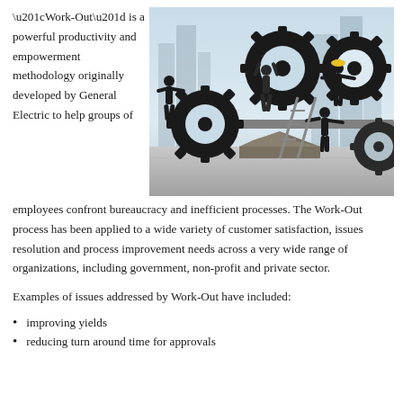“Work-Out” is a powerful productivity and empowerment methodology originally developed by General Electric to help groups of
[Figure (photo): Photo of several business people in suits pushing and lifting large black gear cogs, symbolizing teamwork and process improvement, with a city skyline in the background.]
employees confront bureaucracy and inefficient processes. The Work-Out process has been applied to a wide variety of customer satisfaction, issues resolution and process improvement needs across a very wide range of organizations, including government, non-profit and private sector.
Examples of issues addressed by Work-Out have included:
improving yields
reducing turn around time for approvals